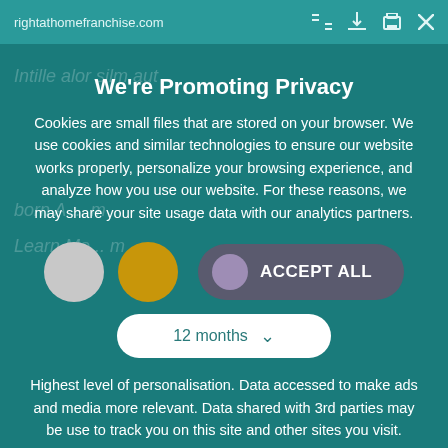rightathomefranchise.com
We're Promoting Privacy
Cookies are small files that are stored on your browser. We use cookies and similar technologies to ensure our website works properly, personalize your browsing experience, and analyze how you use our website. For these reasons, we may share your site usage data with our analytics partners.
[Figure (screenshot): Cookie consent UI showing two circle icons (gray and gold), and an ACCEPT ALL button with purple circle toggle, followed by a 12 months dropdown]
Highest level of personalisation. Data accessed to make ads and media more relevant. Data shared with 3rd parties may be use to track you on this site and other sites you visit.
Save my preferences